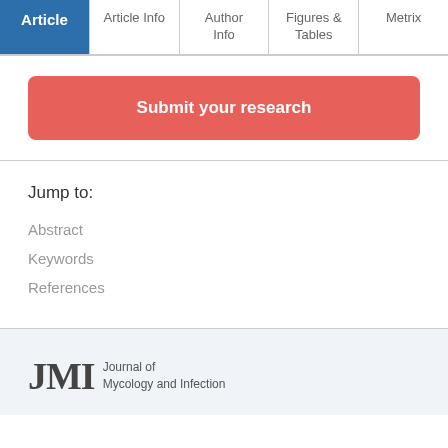| Article | Article Info | Author Info | Figures & Tables | Metrix |
| --- | --- | --- | --- | --- |
Submit your research
Jump to:
Abstract
Keywords
References
[Figure (logo): JMI Journal of Mycology and Infection logo]